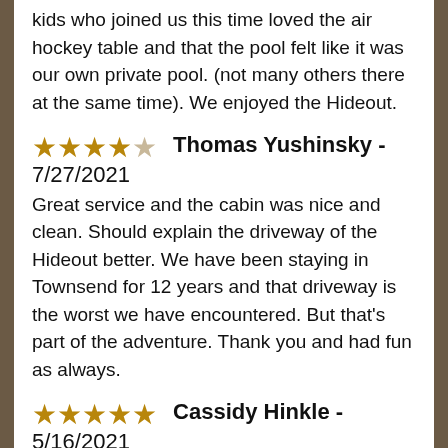kids who joined us this time loved the air hockey table and that the pool felt like it was our own private pool. (not many others there at the same time). We enjoyed the Hideout.
★★★★☆  Thomas Yushinsky - 7/27/2021
Great service and the cabin was nice and clean. Should explain the driveway of the Hideout better. We have been staying in Townsend for 12 years and that driveway is the worst we have encountered. But that's part of the adventure. Thank you and had fun as always.
★★★★★  Cassidy Hinkle - 5/16/2021
Everything was fantastic except for the driveway, will definitely bring the four wheel